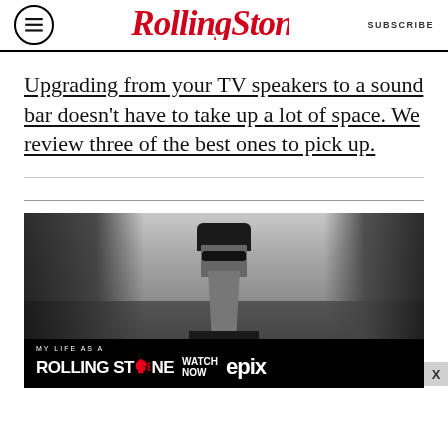Rolling Stone — SUBSCRIBE
Upgrading from your TV speakers to a sound bar doesn't have to take up a lot of space. We review three of the best ones to pick up.
[Figure (photo): Black and white photo of a person with a long beard and sunglasses outdoors, with trees and cloudy sky in the background. Advertisement banner at the bottom reads 'MY LIFE AS A ROLLING STONE WATCH NOW EPIX'.]